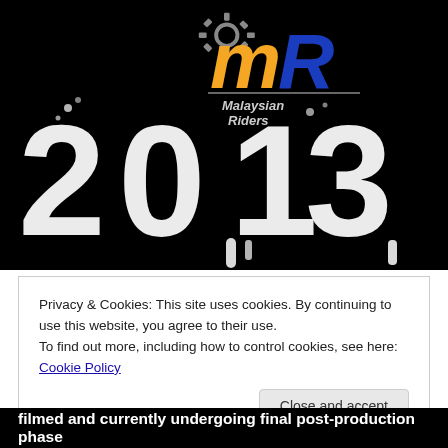[Figure (logo): Malaysian Riders logo with gear icon at top, orange 'm' and blue 'R' letters, text 'Malaysian Riders' below, over a black background with large white graffiti-style '2013' numerals with drip effects]
Privacy & Cookies: This site uses cookies. By continuing to use this website, you agree to their use.
To find out more, including how to control cookies, see here: Cookie Policy
Close and accept
filmed and currently undergoing final post-production phase